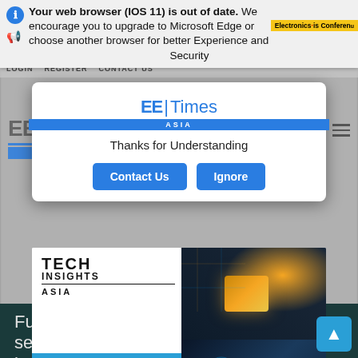Your web browser (iOS 11) is out of date. We encourage you to upgrade to Microsoft Edge or choose another browser for better Experience and Security
[Figure (screenshot): EE Times Asia website background with navigation bar showing LOGIN, REGISTER, CONTACT US links and EE Times ASIA logo, partially visible behind browser warning and modal dialog]
[Figure (screenshot): Modal dialog on EE Times Asia website with logo, 'Thanks for Understanding' message, and two buttons: 'Contact Us' and 'Ignore']
Thanks for Understanding
Contact Us
Ignore
[Figure (screenshot): Tech Insights Asia 2022 advertisement banner sponsored by Microchip, showing logo, title, and tech imagery including a circuit board chip and security/digital lock imagery]
TECH INSIGHTS ASIA
Tech Insights 2022
MICROCHIP
Fusion's global service offering has expanded